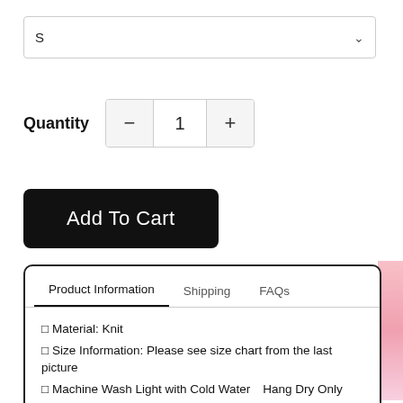S
Quantity  −  1  +
Add To Cart
Product Information | Shipping | FAQs
◻ Material: Knit
◻ Size Information: Please see size chart from the last picture
◻ Machine Wash Light with Cold Water⎡Hang Dry Only
◻ Order Processing Time: 5 business days